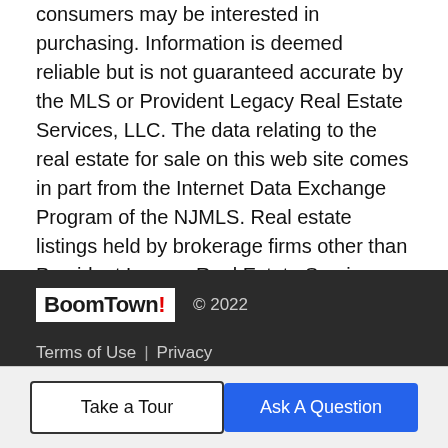consumers may be interested in purchasing. Information is deemed reliable but is not guaranteed accurate by the MLS or Provident Legacy Real Estate Services, LLC. The data relating to the real estate for sale on this web site comes in part from the Internet Data Exchange Program of the NJMLS. Real estate listings held by brokerage firms other than Provident Legacy Real Estate Services, LLC are marked with the Internet Data Exchange logo and information about them includes the name of the listing brokers. Some properties listed with the participating brokers do not appear on this website at the request of the seller. Listings of brokers that do not participate in Internet Data Exchange do not appear on this website. Data last updated: 2022-09-01T11:16:27.09.
BoomTown! © 2022 | Terms of Use | Privacy Policy | Accessibility | DMCA | Listings Sitemap
Take a Tour
Ask A Question